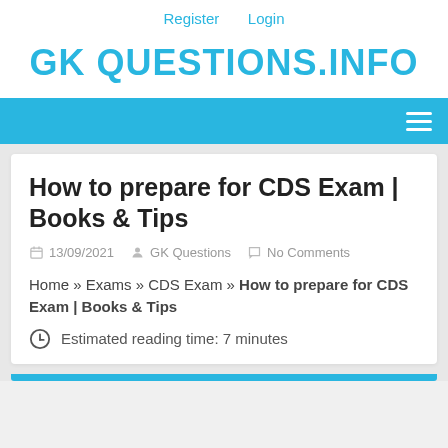Register  Login
GK QUESTIONS.INFO
How to prepare for CDS Exam | Books & Tips
13/09/2021  GK Questions  No Comments
Home » Exams » CDS Exam » How to prepare for CDS Exam | Books & Tips
Estimated reading time: 7 minutes